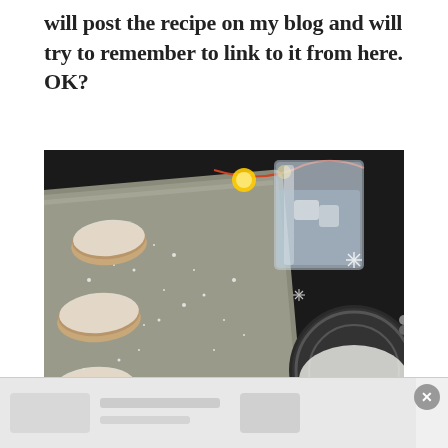will post the recipe on my blog and will try to remember to link to it from here. OK?
[Figure (photo): Overhead photo of round cookies dusted with powdered sugar on a metal baking tray, alongside a glass of water, a round sifter with powdered sugar, snowflake decorations, and string lights on a dark surface.]
[Figure (photo): Partial advertisement banner at the bottom of the page showing a light grey/white image, with a circular close (X) button in the bottom right corner.]